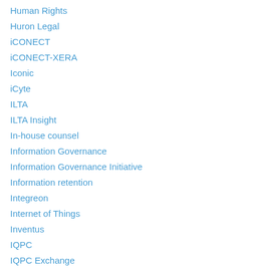Human Rights
Huron Legal
iCONECT
iCONECT-XERA
Iconic
iCyte
ILTA
ILTA Insight
In-house counsel
Information Governance
Information Governance Initiative
Information retention
Integreon
Internet of Things
Inventus
IQPC
IQPC Exchange
Ireland
Iris Data Services
Jackson Reforms